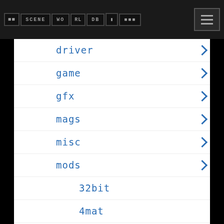Navigation header with logo and menu button
driver
game
gfx
mags
misc
mods
32bit
4mat
8voic
airon
alpma
anakir
atmos
aweso
bhead
bladr
blasa